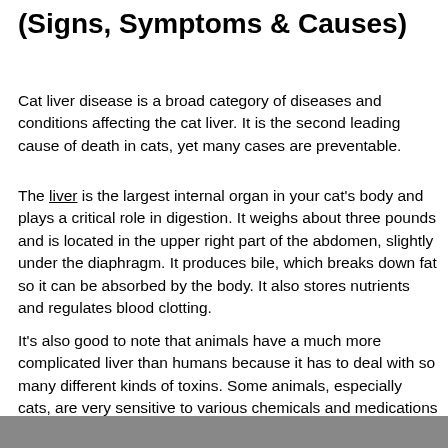(Signs, Symptoms & Causes)
Cat liver disease is a broad category of diseases and conditions affecting the cat liver. It is the second leading cause of death in cats, yet many cases are preventable.
The liver is the largest internal organ in your cat's body and plays a critical role in digestion. It weighs about three pounds and is located in the upper right part of the abdomen, slightly under the diaphragm. It produces bile, which breaks down fat so it can be absorbed by the body. It also stores nutrients and regulates blood clotting.
It's also good to note that animals have a much more complicated liver than humans because it has to deal with so many different kinds of toxins. Some animals, especially cats, are very sensitive to various chemicals and medications that humans can handle quite easily.
[Figure (photo): Partial image of a cat or cat-related medical photo at the bottom of the page]